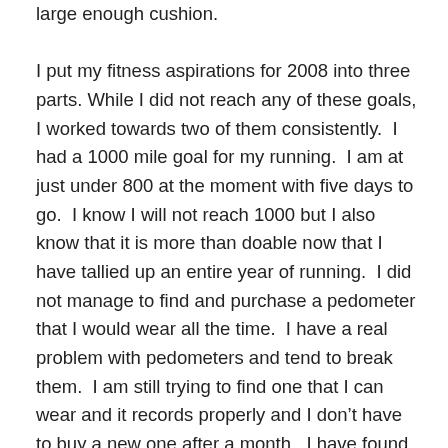large enough cushion.

I put my fitness aspirations for 2008 into three parts. While I did not reach any of these goals, I worked towards two of them consistently. I had a 1000 mile goal for my running. I am at just under 800 at the moment with five days to go. I know I will not reach 1000 but I also know that it is more than doable now that I have tallied up an entire year of running. I did not manage to find and purchase a pedometer that I would wear all the time. I have a real problem with pedometers and tend to break them. I am still trying to find one that I can wear and it records properly and I don’t have to buy a new one after a month. I have found a few strength training outlets. I am not in love with any of them so this goal has not been accomplished. I find I am good with my cardio workouts, not so good with my strength training. This will have to